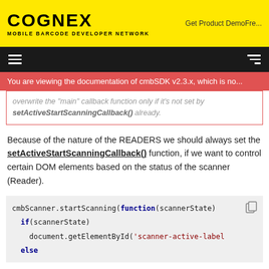COGNEX MOBILE BARCODE DEVELOPER NETWORK | Get Product DemoFre...
You are viewing the documentation of cmbSDK v2.3.x, which is no...
overwrite the "main" callback function only if it's not set by setActiveStartScanningCallback() already.
Because of the nature of the READERS we should always set the setActiveStartScanningCallback() function, if we want to control certain DOM elements based on the status of the scanner (Reader).
[Figure (screenshot): Code block showing cmbScanner.startScanning(function(scannerState) { if(scannerState) { document.getElementById('scanner-active-label ... else ...]